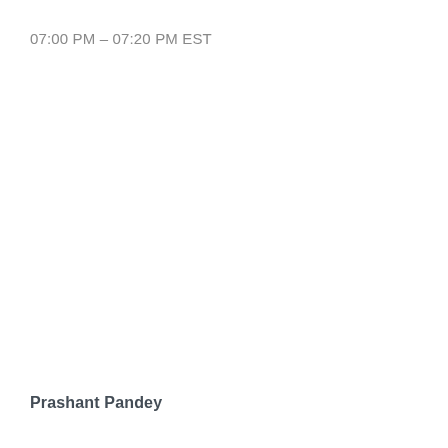07:00 PM – 07:20 PM EST
Prashant Pandey